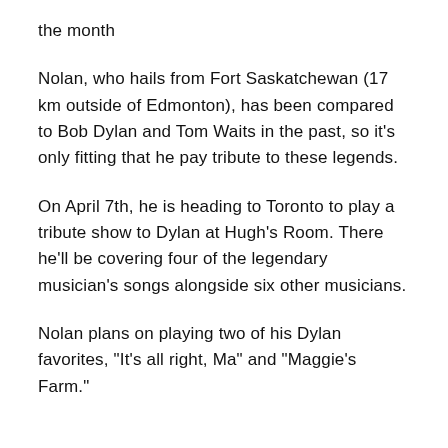the month
Nolan, who hails from Fort Saskatchewan (17 km outside of Edmonton), has been compared to Bob Dylan and Tom Waits in the past, so it’s only fitting that he pay tribute to these legends.
On April 7th, he is heading to Toronto to play a tribute show to Dylan at Hugh’s Room. There he’ll be covering four of the legendary musician’s songs alongside six other musicians.
Nolan plans on playing two of his Dylan favorites, “It’s all right, Ma” and “Maggie’s Farm.”